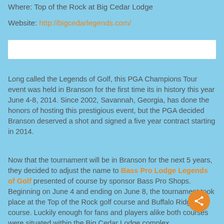Where: Top of the Rock at Big Cedar Lodge
Website: http://bigcedarlegends.com/
[Figure (other): White input or banner box]
Long called the Legends of Golf, this PGA Champions Tour event was held in Branson for the first time its in history this year June 4-8, 2014. Since 2002, Savannah, Georgia, has done the honors of hosting this prestigious event, but the PGA decided Branson deserved a shot and signed a five year contract starting in 2014.
Now that the tournament will be in Branson for the next 5 years, they decided to adjust the name to Bass Pro Lodge Legends of Golf presented of course by sponsor Bass Pro Shops. Beginning on June 4 and ending on June 8, the tournament took place at the Top of the Rock golf course and Buffalo Ridge golf course. Luckily enough for fans and players alike both courses were situated within the Big Cedar Lodge complex.